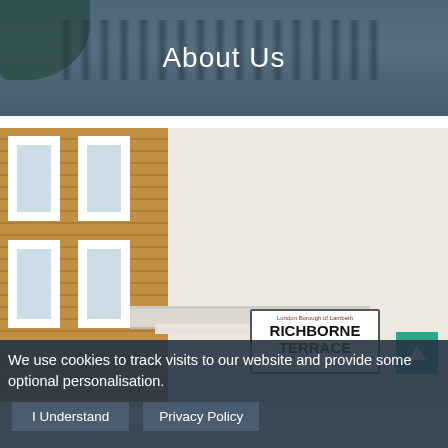[Figure (photo): Photo of iron fence and buildings with semi-transparent dark overlay, showing 'About Us' title text]
About Us
[Figure (photo): Photo of a brick and cream render building facade with white sash windows and a Richborne Terrace street sign visible at bottom right]
We use cookies to track visits to our website and provide some optional personalisation.
I Understand
Privacy Policy